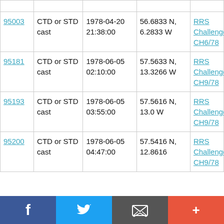|  |  |  |  |  |
| --- | --- | --- | --- | --- |
| 95003 | CTD or STD cast | 1978-04-20 21:38:00 | 56.6833 N, 6.2833 W | RRS Challenger CH6/78 |
| 95181 | CTD or STD cast | 1978-06-05 02:10:00 | 57.5633 N, 13.3266 W | RRS Challenger CH9/78 |
| 95193 | CTD or STD cast | 1978-06-05 03:55:00 | 57.5616 N, 13.0 W | RRS Challenger CH9/78 |
| 95200 | CTD or STD cast | 1978-06-05 04:47:00 | 57.5416 N, 12.8616 | RRS Challenger CH9/78 |
f  [twitter]  [email]  +